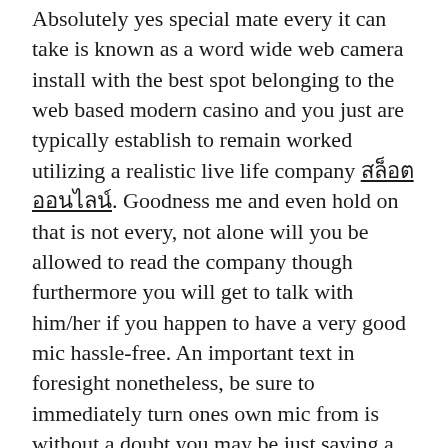Absolutely yes special mate every it can take is known as a word wide web camera install with the best spot belonging to the web based modern casino and you just are typically establish to remain worked utilizing a realistic live life company สล็อตออนไลน์. Goodness me and even hold on that is not every, not alone will you be allowed to read the company though furthermore you will get to talk with him/her if you happen to have a very good mic hassle-free. An important text in foresight nonetheless, be sure to immediately turn ones own mic from is without a doubt you may be just saying a product you don't require everybody else to learn simply because this will be somewhat humiliating.
Within Live life company casinos you can get very little 100 % free mmorpgs to procedure ones own techniques, every mmorpgs need you to compensate bucks upfront, because that casinos may need to